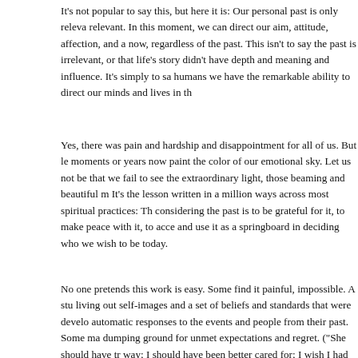It's not popular to say this, but here it is: Our personal past is only releva relevant. In this moment, we can direct our aim, attitude, affection, and a now, regardless of the past. This isn't to say the past is irrelevant, or that life's story didn't have depth and meaning and influence. It's simply to sa humans we have the remarkable ability to direct our minds and lives in th
Yes, there was pain and hardship and disappointment for all of us. But le moments or years now paint the color of our emotional sky. Let us not be that we fail to see the extraordinary light, those beaming and beautiful m It's the lesson written in a million ways across most spiritual practices: Th considering the past is to be grateful for it, to make peace with it, to acce and use it as a springboard in deciding who we wish to be today.
No one pretends this work is easy. Some find it painful, impossible. A stu living out self-images and a set of beliefs and standards that were develo automatic responses to the events and people from their past. Some ma dumping ground for unmet expectations and regret. ("She should have tr way; I should have been better cared for; I wish I had done this or that.") understand. This thing happened to me…" as if their ego has allowed the one across the millennia or of seven billion alive today who endured such blame their past (or their unconscious hangover from it) on their failures themselves.